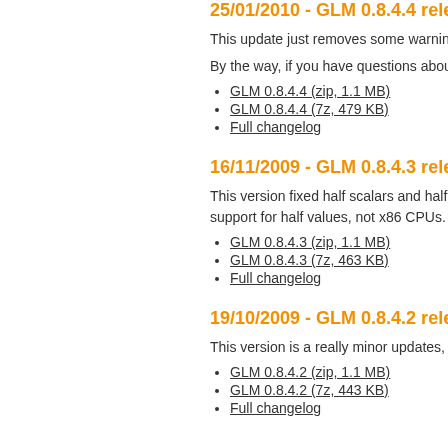25/01/2010 - GLM 0.8.4.4 released
This update just removes some warnings
By the way, if you have questions about GLM
GLM 0.8.4.4 (zip, 1.1 MB)
GLM 0.8.4.4 (7z, 479 KB)
Full changelog
16/11/2009 - GLM 0.8.4.3 released
This version fixed half scalars and half vecto support for half values, not x86 CPUs.
GLM 0.8.4.3 (zip, 1.1 MB)
GLM 0.8.4.3 (7z, 463 KB)
Full changelog
19/10/2009 - GLM 0.8.4.2 released
This version is a really minor updates, fixing
GLM 0.8.4.2 (zip, 1.1 MB)
GLM 0.8.4.2 (7z, 443 KB)
Full changelog